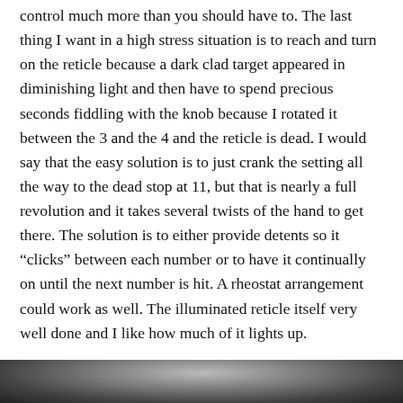control much more than you should have to. The last thing I want in a high stress situation is to reach and turn on the reticle because a dark clad target appeared in diminishing light and then have to spend precious seconds fiddling with the knob because I rotated it between the 3 and the 4 and the reticle is dead. I would say that the easy solution is to just crank the setting all the way to the dead stop at 11, but that is nearly a full revolution and it takes several twists of the hand to get there. The solution is to either provide detents so it “clicks” between each number or to have it continually on until the next number is hit. A rheostat arrangement could work as well. The illuminated reticle itself very well done and I like how much of it lights up.
[Figure (photo): Partial photo visible at the bottom of the page, appears to show a dark/grey object, cropped]